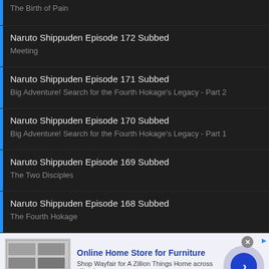Naruto Shippuden Episode 172 Subbed
The Birth of Pain
Naruto Shippuden Episode 172 Subbed
Meeting
Naruto Shippuden Episode 171 Subbed
Big Adventure! Search for the Fourth Hokage's Legacy - Part 2
Naruto Shippuden Episode 170 Subbed
Big Adventure! Search for the Fourth Hokage's Legacy - Part 1
Naruto Shippuden Episode 169 Subbed
The Two Disciples
Naruto Shippuden Episode 168 Subbed
The Fourth Hokage
[Figure (screenshot): Advertisement banner for Wayfair Online Home Store for Furniture with image of furniture/appliances, blue title text, description text, green URL, and a blue arrow button in a circle]